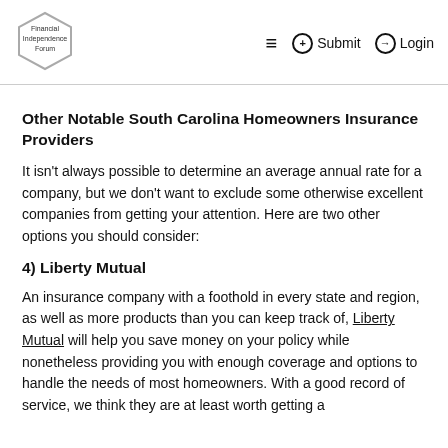Financial Independence Forum — Submit — Login
Other Notable South Carolina Homeowners Insurance Providers
It isn't always possible to determine an average annual rate for a company, but we don't want to exclude some otherwise excellent companies from getting your attention. Here are two other options you should consider:
4) Liberty Mutual
An insurance company with a foothold in every state and region, as well as more products than you can keep track of, Liberty Mutual will help you save money on your policy while nonetheless providing you with enough coverage and options to handle the needs of most homeowners. With a good record of service, we think they are at least worth getting a